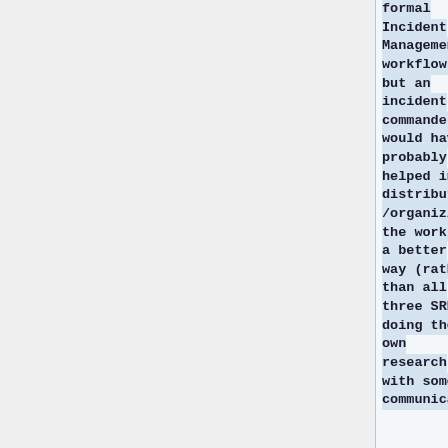formal Incident Management workflow, but an incident commander would have probably helped in distributing /organizing the work in a better way (rather than all three SREs doing their own research with some communicatio